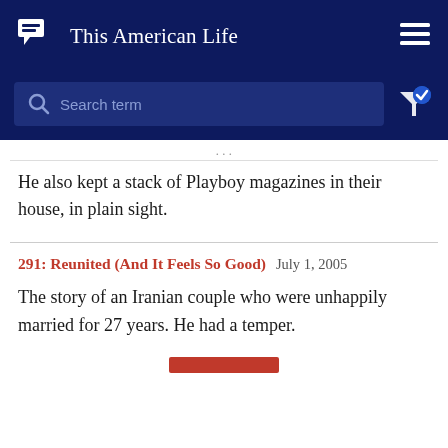This American Life
Search term
He also kept a stack of Playboy magazines in their house, in plain sight.
291: Reunited (And It Feels So Good)  July 1, 2005
The story of an Iranian couple who were unhappily married for 27 years. He had a temper.